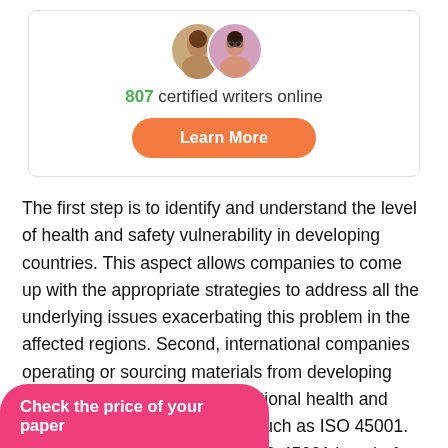[Figure (photo): Two circular avatar photos of women side by side, overlapping slightly, inside a white card.]
807 certified writers online
Learn More
The first step is to identify and understand the level of health and safety vulnerability in developing countries. This aspect allows companies to come up with the appropriate strategies to address all the underlying issues exacerbating this problem in the affected regions. Second, international companies operating or sourcing materials from developing countries should adopt occupational health and safety management systems, such as ISO 45001. According to Cooper (2014), ISO 45001 is a draft y aiming to "create rker safety and
Check the price of your paper